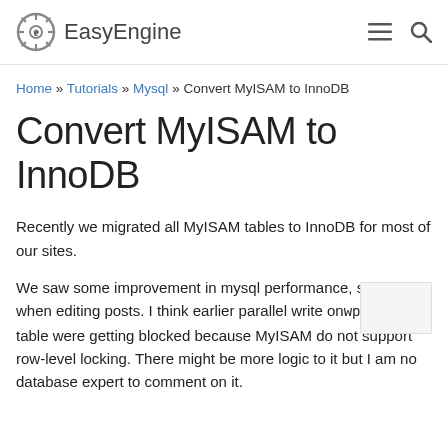EasyEngine
Home » Tutorials » Mysql » Convert MyISAM to InnoDB
Convert MyISAM to InnoDB
Recently we migrated all MyISAM tables to InnoDB for most of our sites.
We saw some improvement in mysql performance, specially when editing posts. I think earlier parallel write on wp_posts table were getting blocked because MyISAM do not support row-level locking. There might be more logic to it but I am no database expert to comment on it.